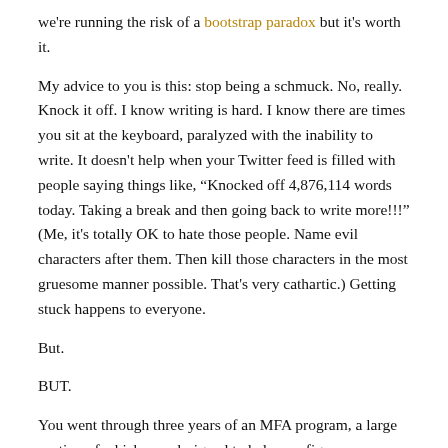we're running the risk of a bootstrap paradox but it's worth it.
My advice to you is this: stop being a schmuck. No, really. Knock it off. I know writing is hard. I know there are times you sit at the keyboard, paralyzed with the inability to write. It doesn't help when your Twitter feed is filled with people saying things like, “Knocked off 4,876,114 words today. Taking a break and then going back to write more!!!” (Me, it's totally OK to hate those people. Name evil characters after them. Then kill those characters in the most gruesome manner possible. That's very cathartic.) Getting stuck happens to everyone.
But.
BUT.
You went through three years of an MFA program, a large portion of which was designed to help you figure